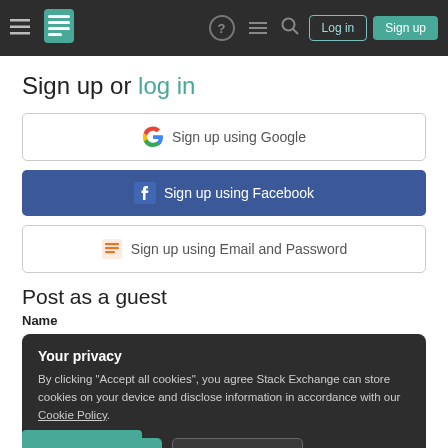Stack Exchange navigation bar with Log in and Sign up buttons
Sign up or log in
Sign up using Google
Sign up using Facebook
Sign up using Email and Password
Post as a guest
Name
Your privacy
By clicking "Accept all cookies", you agree Stack Exchange can store cookies on your device and disclose information in accordance with our Cookie Policy.
Accept all cookies
Customize settings